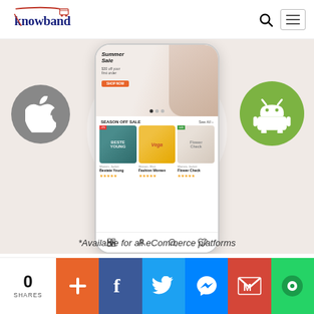[Figure (logo): Knowband logo with shopping cart icon - brand name in navy blue with red cart]
[Figure (screenshot): Mobile app screenshot showing eCommerce app with Summer Sale banner, Season Off Sale section with product listings for Women Jacket (Bestate Young), Women Shirt (Fashion Women), Women Jacket (Flower Check). Apple iOS and Android platform icons on either side.]
*Available for all eCommerce platforms
0 SHARES
[Figure (infographic): Social sharing bar with buttons: add (+), Facebook, Twitter, Messenger, Gmail, chat bubble]